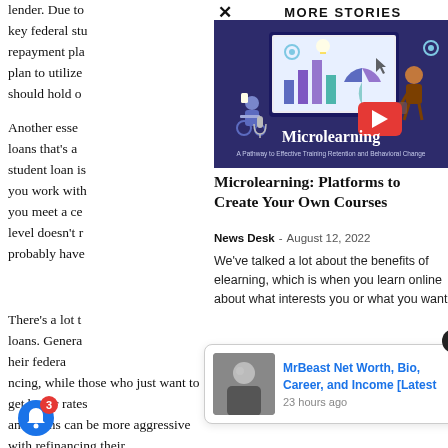lender. Due to key federal student loan repayment plan to utilize should hold on
Another essential loans that's a student loan is you work with you meet a certain level doesn't probably have
There's a lot to loans. Generally their federal refinancing, while those who just want to get better rates and terms can be more aggressive with refinancing their
MORE STORIES
[Figure (illustration): Microlearning: A Pathway to Effective Training Retention and Behavioral Change illustration with a person in a wheelchair, a monitor showing charts and graphs, and another person walking.]
Microlearning: Platforms to Create Your Own Courses
News Desk - August 12, 2022
We've talked a lot about the benefits of elearning, which is when you learn online about what interests you or what you want
[Figure (photo): Thumbnail photo of a person (MrBeast) in a black t-shirt]
MrBeast Net Worth, Bio, Career, and Income [Latest
23 hours ago